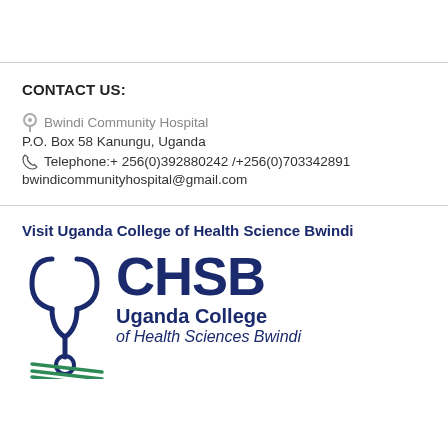CONTACT US:
Bwindi Community Hospital
P.O. Box 58 Kanungu, Uganda
Telephone:+ 256(0)392880242 /+256(0)703342891
bwindicommunityhospital@gmail.com
Visit Uganda College of Health Science Bwindi
[Figure (logo): CHSB Uganda College of Health Sciences Bwindi logo with stethoscope/DNA icon on left and CHSB text with full name on right]